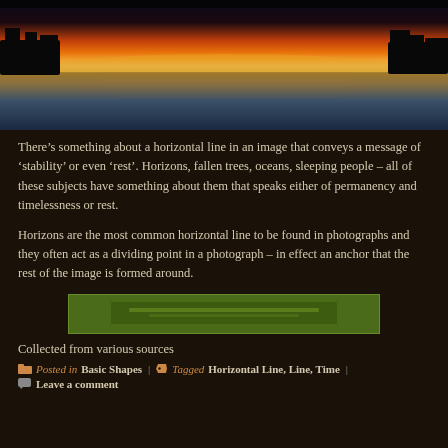[Figure (photo): Sunset landscape over a calm lake or river, with orange and red sky at the horizon, silhouetted trees, and blue-grey water reflections below.]
There’s something about a horizontal line in an image that conveys a message of ‘stability’ or even ‘rest’. Horizons, fallen trees, oceans, sleeping people – all of these subjects have something about them that speaks either of permanency and timelessness or rest.
Horizons are the most common horizontal line to be found in photographs and they often act as a dividing point in a photograph – in effect an anchor that the rest of the image is formed around.
[Figure (other): A green banner or button element, partially obscured, with text that appears to be a link or call-to-action button.]
Collected from various sources
Posted in Basic Shapes | Tagged Horizontal Line, Line, Time | Leave a comment